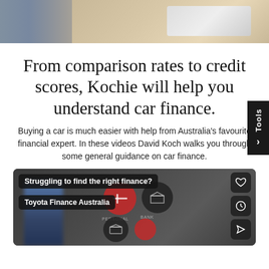[Figure (photo): Top banner photo showing a man in a plaid shirt standing outdoors and a white pickup truck on a dirt road]
From comparison rates to credit scores, Kochie will help you understand car finance.
Buying a car is much easier with help from Australia's favourite financial expert. In these videos David Koch walks you through some general guidance on car finance.
[Figure (screenshot): Video thumbnail showing text overlays 'Struggling to find the right finance?' and 'Toyota Finance Australia' with blurred background of a person and finance icons including personal loan and bank icons, with social media style action buttons on the right]